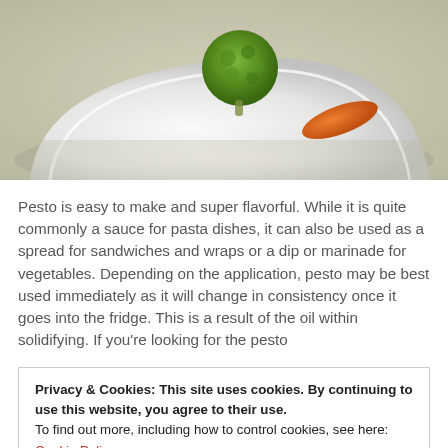[Figure (photo): Close-up photo of a white plate with vegetables and a pesto-topped broccoli or herb ball, shallow depth of field]
Pesto is easy to make and super flavorful. While it is quite commonly a sauce for pasta dishes, it can also be used as a spread for sandwiches and wraps or a dip or marinade for vegetables. Depending on the application, pesto may be best used immediately as it will change in consistency once it goes into the fridge. This is a result of the oil within solidifying. If you're looking for the pesto
Privacy & Cookies: This site uses cookies. By continuing to use this website, you agree to their use.
To find out more, including how to control cookies, see here: Cookie Policy
herbs selected. Thus, I believe that pesto follows a basic